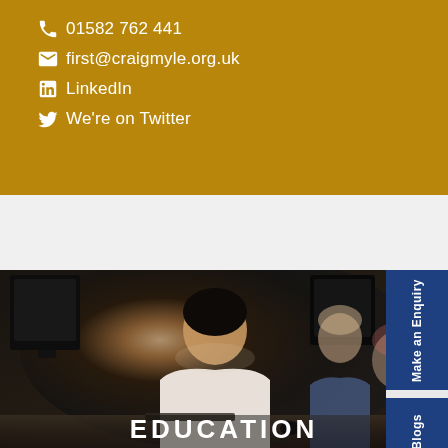01582 762 441
first@craigmyle.org.uk
LinkedIn
We're on Twitter
[Figure (photo): Students working at computers in a classroom. A young man in a white t-shirt is in the foreground working at a computer, with other students visible behind him.]
EDUCATION